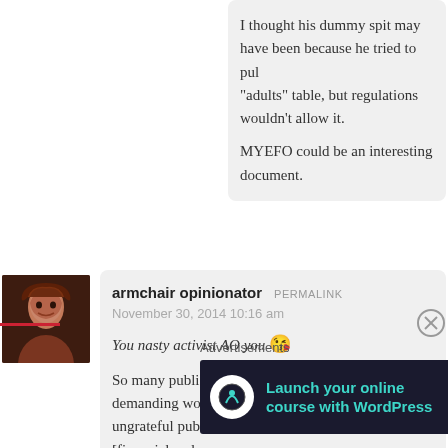I thought his dummy spit may have been because he tried to pull himself to the “adults” table, but regulations wouldn’t allow it.

MYEFO could be an interesting document.
armchair opinionator PERMALINK
November 30, 2014 10:16 am
You nasty activist AO you 😘
So many public servants who perform selfless, demanding work for an ungrateful public and even more unsupportive [financial and wo…] had a gutful of being targeted for cuts. A gutful of being used an… of our own health, wellbeing and prosperity.
Advertisements
[Figure (infographic): Advertisement banner: Launch your online course with WordPress - Learn More]